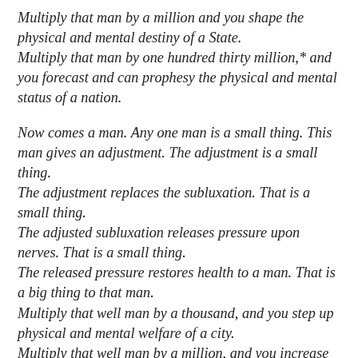Multiply that man by a million and you shape the physical and mental destiny of a State. Multiply that man by one hundred thirty million,* and you forecast and can prophesy the physical and mental status of a nation.
Now comes a man. Any one man is a small thing. This man gives an adjustment. The adjustment is a small thing. The adjustment replaces the subluxation. That is a small thing. The adjusted subluxation releases pressure upon nerves. That is a small thing. The released pressure restores health to a man. That is a big thing to that man. Multiply that well man by a thousand, and you step up physical and mental welfare of a city. Multiply that well man by a million, and you increase the efficiency of a State. Multiply that well man by one hundred thirty million, and you have produced a healthy, wealthy, and better